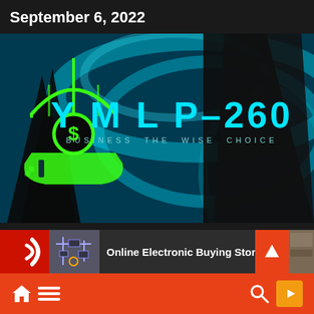September 6, 2022
[Figure (logo): YMLP-260 brand hero image with umbrella and coin icon on dark cyan background with silhouettes. Text: Y M L P-260 BUSINESS THE WISE CHOICE]
Online Electronic Buying Store In Indi
[Figure (infographic): Bottom navigation bar with home, menu, search and YouTube icons on red/orange background]